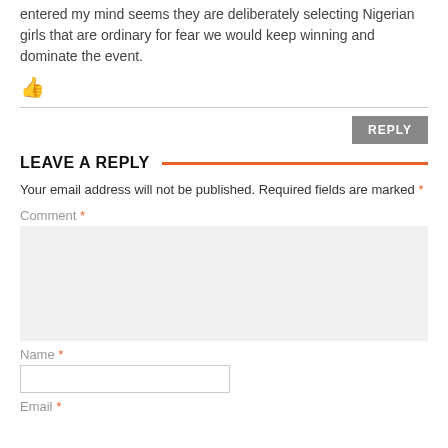entered my mind seems they are deliberately selecting Nigerian girls that are ordinary for fear we would keep winning and dominate the event.
[Figure (illustration): Orange thumbs-up icon]
REPLY
LEAVE A REPLY
Your email address will not be published. Required fields are marked *
Comment *
Name *
Email *